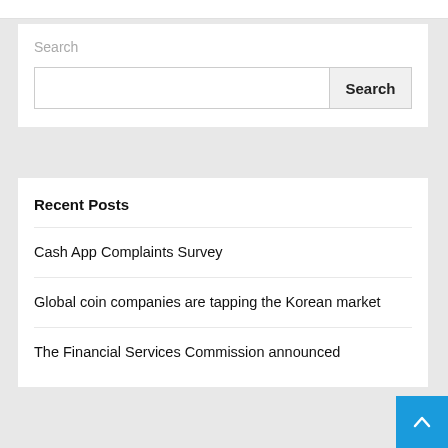Search
Recent Posts
Cash App Complaints Survey
Global coin companies are tapping the Korean market
The Financial Services Commission announced